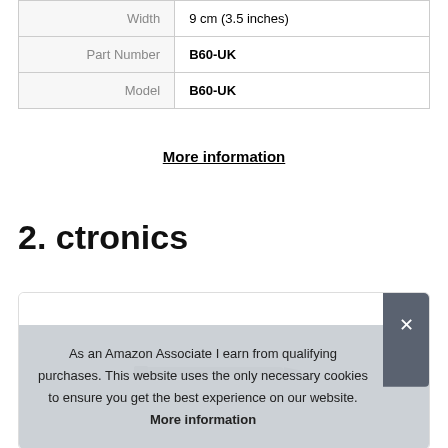| Width | 9 cm (3.5 inches) |
| Part Number | B60-UK |
| Model | B60-UK |
More information
2. ctronics
[Figure (photo): Product image inside a rounded border box, showing a stylus/pen against a white background]
As an Amazon Associate I earn from qualifying purchases. This website uses the only necessary cookies to ensure you get the best experience on our website. More information